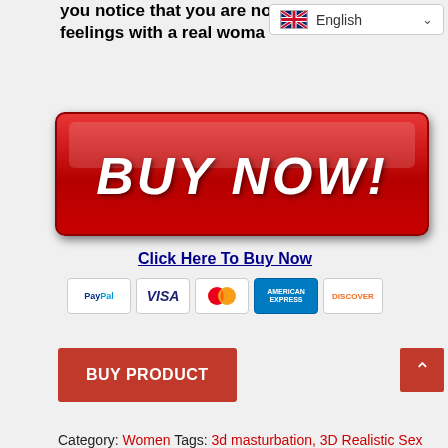you notice that you are no feelings with a real woma
[Figure (screenshot): Language selector dropdown showing English with UK flag]
[Figure (illustration): Red BUY NOW! button with white italic bold text, Click Here To Buy Now link, and payment method icons (PayPal, Visa, Mastercard, American Express, Discover)]
BUY PRODUCT
Category: Women Tags: 3d masturbation, 3D Realistic Sex Doll Male Masturbator, advanced masturbation, app controlled adult toys, app controlled sex toy, app controlled sex toys, APP CONTROLLED VIBRATOR, auto masterbator, automatic male masterbater, automatic male